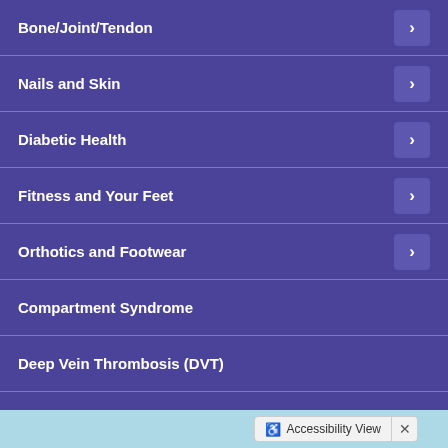Bone/Joint/Tendon
Nails and Skin
Diabetic Health
Fitness and Your Feet
Orthotics and Footwear
Compartment Syndrome
Deep Vein Thrombosis (DVT)
Equinus
Instructions for Using Crutches
Staph Infections of the Foot
Accessibility View ×